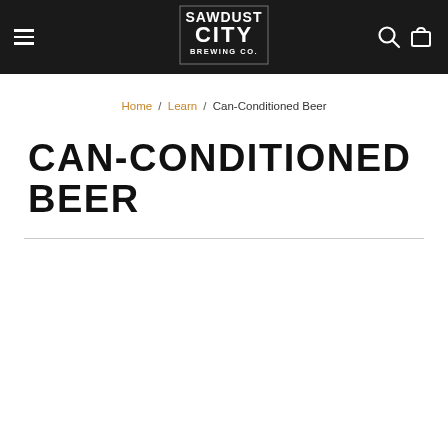Sawdust City Brewing Co. — navigation bar with hamburger menu, logo, search and cart icons
Home / Learn / Can-Conditioned Beer
CAN-CONDITIONED BEER